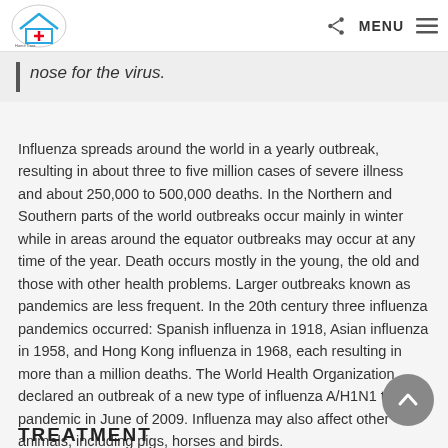Home Care Daily News — MENU
nose for the virus.
Influenza spreads around the world in a yearly outbreak, resulting in about three to five million cases of severe illness and about 250,000 to 500,000 deaths. In the Northern and Southern parts of the world outbreaks occur mainly in winter while in areas around the equator outbreaks may occur at any time of the year. Death occurs mostly in the young, the old and those with other health problems. Larger outbreaks known as pandemics are less frequent. In the 20th century three influenza pandemics occurred: Spanish influenza in 1918, Asian influenza in 1958, and Hong Kong influenza in 1968, each resulting in more than a million deaths. The World Health Organization declared an outbreak of a new type of influenza A/H1N1 to be a pandemic in June of 2009. Influenza may also affect other animals, including pigs, horses and birds.
TREATMENT